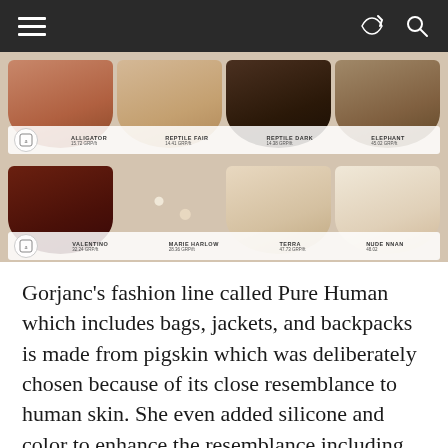Navigation bar with hamburger menu, share icon, and search icon
[Figure (photo): Display board showing leather swatches in various colors and textures labeled: Alligator, Reptile Fair, Reptile Dark, Elephant (top row); Valentino, Marie Harlow, and two others (bottom row). Each swatch has a logo badge and label with weight measurements in GRP/ft.]
Gorjanc's fashion line called Pure Human which includes bags, jackets, and backpacks is made from pigskin which was deliberately chosen because of its close resemblance to human skin. She even added silicone and color to enhance the resemblance including details like freckles and tattoos. Meanwhile, she has been working with a laboratory to grow usable skin.